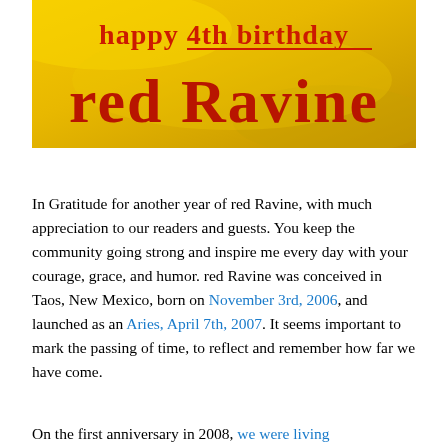[Figure (photo): Yellow and golden background birthday banner with red text reading 'happy 4th birthday' (with an underline under '4th birthday') and below that 'red Ravine' in large red bold letters]
In Gratitude for another year of red Ravine, with much appreciation to our readers and guests. You keep the community going strong and inspire me every day with your courage, grace, and humor. red Ravine was conceived in Taos, New Mexico, born on November 3rd, 2006, and launched as an Aries, April 7th, 2007. It seems important to mark the passing of time, to reflect and remember how far we have come.
On the first anniversary in 2008, we were living